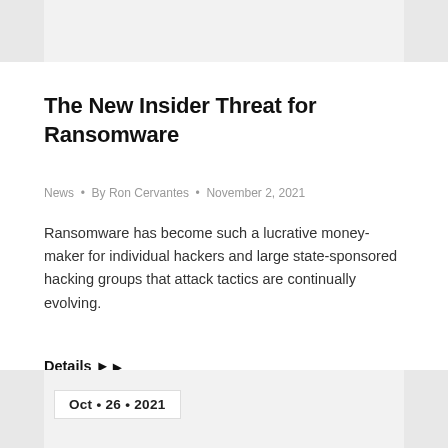The New Insider Threat for Ransomware
News • By Ron Cervantes • November 2, 2021
Ransomware has become such a lucrative money-maker for individual hackers and large state-sponsored hacking groups that attack tactics are continually evolving.
Details ▶
Oct • 26 • 2021